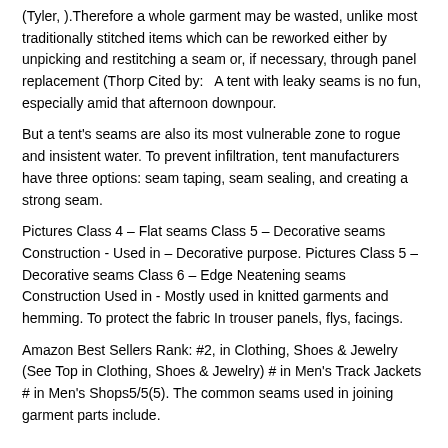(Tyler, ).Therefore a whole garment may be wasted, unlike most traditionally stitched items which can be reworked either by unpicking and restitching a seam or, if necessary, through panel replacement (Thorp Cited by:   A tent with leaky seams is no fun, especially amid that afternoon downpour.
But a tent's seams are also its most vulnerable zone to rogue and insistent water. To prevent infiltration, tent manufacturers have three options: seam taping, seam sealing, and creating a strong seam.
Pictures Class 4 – Flat seams Class 5 – Decorative seams Construction - Used in – Decorative purpose. Pictures Class 5 – Decorative seams Class 6 – Edge Neatening seams Construction Used in - Mostly used in knitted garments and hemming. To protect the fabric In trouser panels, flys, facings.
Amazon Best Sellers Rank: #2, in Clothing, Shoes & Jewelry (See Top in Clothing, Shoes & Jewelry) # in Men's Track Jackets # in Men's Shops5/5(5). The common seams used in joining garment parts include.